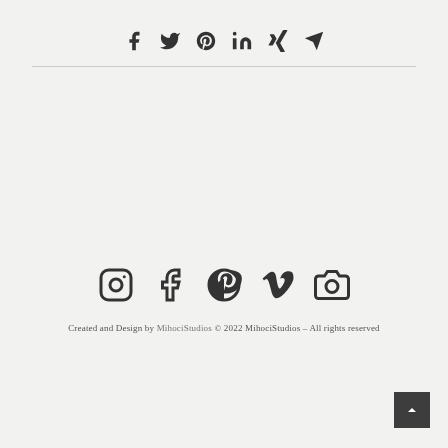[Figure (other): Social share icons row: Facebook, Twitter, Pinterest, LinkedIn, Xing, Telegram]
[Figure (other): Social media profile icons row: Instagram, Facebook, Pinterest, Vimeo, another camera/Instagram icon]
Created and Design by MihociStudios © 2022 MihociStudios – All rights reserved